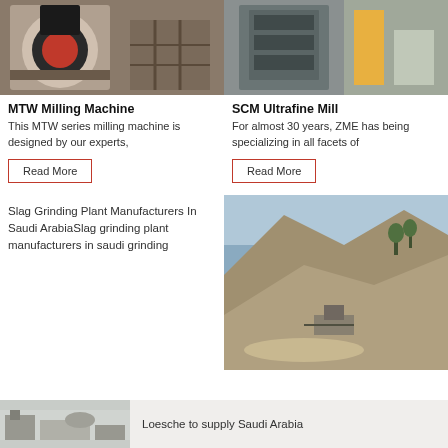[Figure (photo): MTW Milling Machine industrial equipment in a factory setting]
[Figure (photo): SCM Ultrafine Mill heavy press machine in an industrial facility]
MTW Milling Machine
This MTW series milling machine is designed by our experts,
Read More
SCM Ultrafine Mill
For almost 30 years, ZME has being specializing in all facets of
Read More
Slag Grinding Plant Manufacturers In Saudi ArabiaSlag grinding plant manufacturers in saudi grinding
[Figure (photo): Aerial view of a quarry with crushing and grinding equipment]
Loesche to supply Saudi Arabia